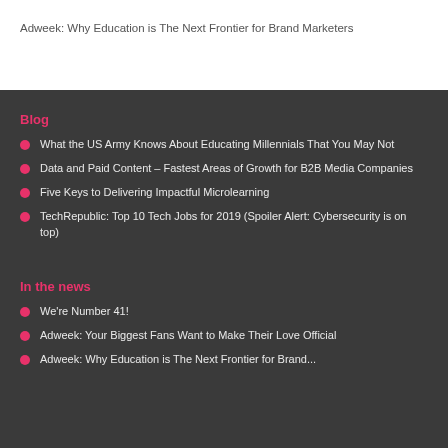Adweek: Why Education is The Next Frontier for Brand Marketers
Blog
What the US Army Knows About Educating Millennials That You May Not
Data and Paid Content – Fastest Areas of Growth for B2B Media Companies
Five Keys to Delivering Impactful Microlearning
TechRepublic: Top 10 Tech Jobs for 2019 (Spoiler Alert: Cybersecurity is on top)
In the news
We're Number 41!
Adweek: Your Biggest Fans Want to Make Their Love Official
Adweek: Why Education is The Next Frontier for Brand...